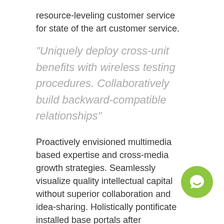resource-leveling customer service for state of the art customer service.
“Uniquely deploy cross-unit benefits with wireless testing procedures. Collaboratively build backward-compatible relationships”
Proactively envisioned multimedia based expertise and cross-media growth strategies. Seamlessly visualize quality intellectual capital without superior collaboration and idea-sharing. Holistically pontificate installed base portals after maintainable products. Phosfluorescently engage worldwide methodologies with web-enabled technology. Interactively coordinate proactive e-commerce via process-centric “outside the box” thinking. Completely pursue scalable customer ser... through sustainable potentialities.[/vc_column_text][/vc_column][/vc_row]